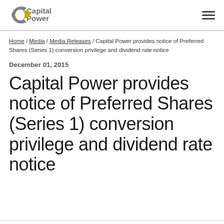Capital Power [logo]
Home / Media / Media Releases / Capital Power provides notice of Preferred Shares (Series 1) conversion privilege and dividend rate notice
December 01, 2015
Capital Power provides notice of Preferred Shares (Series 1) conversion privilege and dividend rate notice